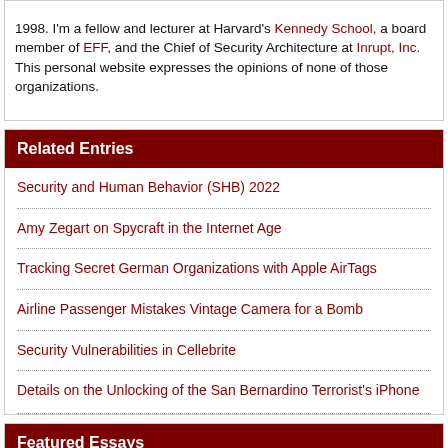1998. I'm a fellow and lecturer at Harvard's Kennedy School, a board member of EFF, and the Chief of Security Architecture at Inrupt, Inc. This personal website expresses the opinions of none of those organizations.
Related Entries
Security and Human Behavior (SHB) 2022
Amy Zegart on Spycraft in the Internet Age
Tracking Secret German Organizations with Apple AirTags
Airline Passenger Mistakes Vintage Camera for a Bomb
Security Vulnerabilities in Cellebrite
Details on the Unlocking of the San Bernardino Terrorist's iPhone
Featured Essays
The Value of Encryption
Data Is a Toxic Asset, So Why Not Throw It Out?
How the NSA Threatens National Security
Terrorists May Use Google Earth, But Fear Is No Reason to...